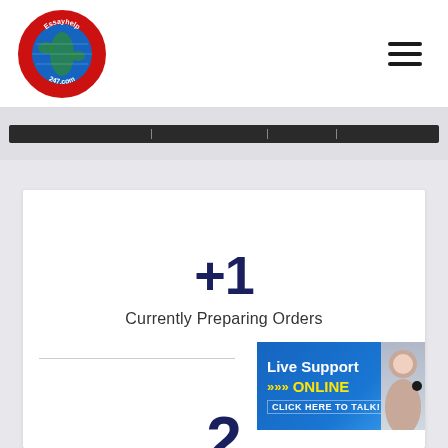[Figure (logo): EssayHelp 247.com logo — red circular badge with globe]
[Figure (other): Hamburger menu icon (three horizontal lines)]
[Figure (other): Dark progress/loading bar]
+1
Currently Preparing Orders
[Figure (other): Live Support ONLINE — Click here to talk! banner with female agent photo]
2
Happy Clients